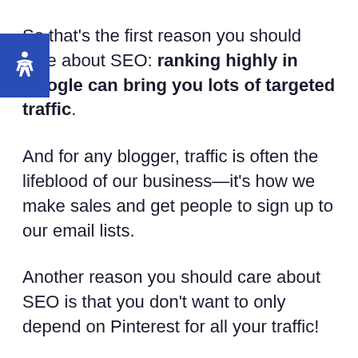So that's the first reason you should care about SEO: ranking highly in Google can bring you lots of targeted traffic.
And for any blogger, traffic is often the lifeblood of our business—it's how we make sales and get people to sign up to our email lists.
Another reason you should care about SEO is that you don't want to only depend on Pinterest for all your traffic!